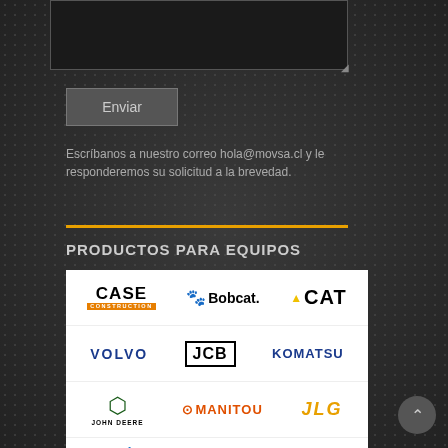Enviar
Escríbanos a nuestro correo hola@movsa.cl y le responderemos su solicitud a la brevedad.
PRODUCTOS PARA EQUIPOS
[Figure (logo): Brand logos panel showing: CASE CONSTRUCTION, Bobcat, CAT, VOLVO, JCB, KOMATSU, JOHN DEERE, MANITOU, JLG, Genie, TOYOTA, BELL]